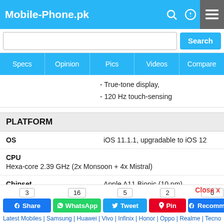Mobile-Phone.pk
- True-tone display,
- 120 Hz touch-sensing
PLATFORM
| Property | Value |
| --- | --- |
| OS | iOS 11.1.1, upgradable to iOS 12 |
| CPU
Hexa-core 2.39 GHz (2x Monsoon + 4x Mistral) |  |
| Chipset | Apple A11 Bionic (10 nm) |
| GPU | Apple GPU (three-core graphics) |
MEMORY
3 Share | 16 WhatsApp | 5 Tweet | 2 Pin | 0 Recommend
Latest Mobiles | Samsung | Huawei | Vivo | Infinix | Honor | Oppo | Realme | Tecno